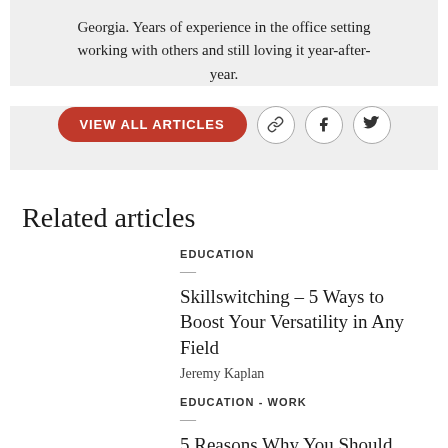Georgia. Years of experience in the office setting working with others and still loving it year-after-year.
[Figure (other): Red 'VIEW ALL ARTICLES' button with link, Facebook, and Twitter icons]
Related articles
EDUCATION
Skillswitching – 5 Ways to Boost Your Versatility in Any Field
Jeremy Kaplan
EDUCATION - WORK
5 Reasons Why You Should Pursue a Career as a Medical